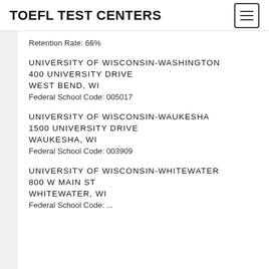TOEFL TEST CENTERS
Retention Rate: 66%
UNIVERSITY OF WISCONSIN-WASHINGTON
400 UNIVERSITY DRIVE
WEST BEND, WI
Federal School Code: 005017
UNIVERSITY OF WISCONSIN-WAUKESHA
1500 UNIVERSITY DRIVE
WAUKESHA, WI
Federal School Code: 003909
UNIVERSITY OF WISCONSIN-WHITEWATER
800 W MAIN ST
WHITEWATER, WI
Federal School Code: ...